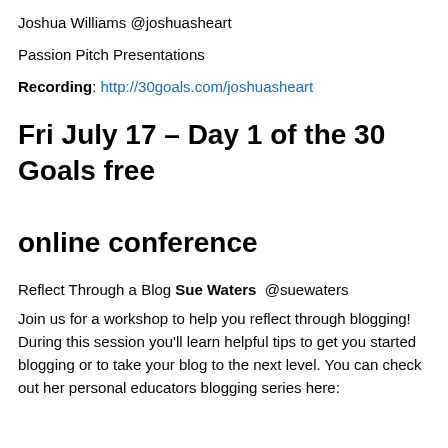Joshua Williams @joshuasheart
Passion Pitch Presentations
Recording: http://30goals.com/joshuasheart
Fri July 17 – Day 1 of the 30 Goals free online conference
Reflect Through a Blog Sue Waters @suewaters
Join us for a workshop to help you reflect through blogging! During this session you'll learn helpful tips to get you started blogging or to take your blog to the next level. You can check out her personal educators blogging series here: